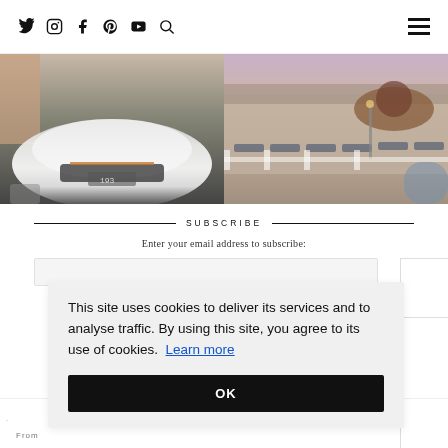Social icons: Twitter, Instagram, Facebook, Pinterest, YouTube, Search | Hamburger menu
[Figure (photo): Left photo: person next to a white McLaren supercar, close-up of front bumper]
[Figure (photo): Right photo: outdoor pool area with lounge chairs and thatched gazebo at dusk]
SUBSCRIBE
Enter your email address to subscribe:
This site uses cookies to deliver its services and to analyse traffic. By using this site, you agree to its use of cookies. Learn more
OK
ner
From